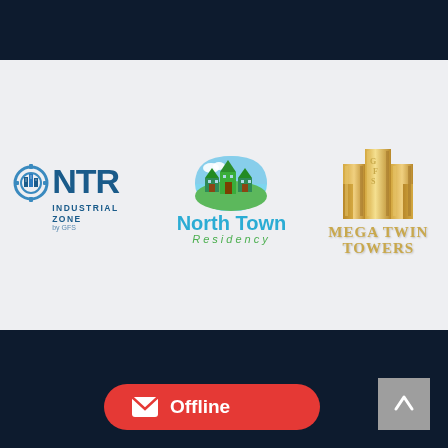[Figure (logo): NTR Industrial Zone by GFS logo — blue industrial/gear icon with bold blue NTR text and subtitle INDUSTRIAL ZONE by GFS]
[Figure (logo): North Town Residency logo — circular sky-blue dome with green house/tree icons, text North Town in blue and Residency in green italic]
[Figure (logo): GFS Mega Twin Towers logo — gold twin tower buildings with GFS letters and MEGA TWIN TOWERS text in gold]
[Figure (illustration): Red rounded rectangle button with white envelope icon and Offline label in white text]
[Figure (illustration): Grey square button with white upward arrow icon]